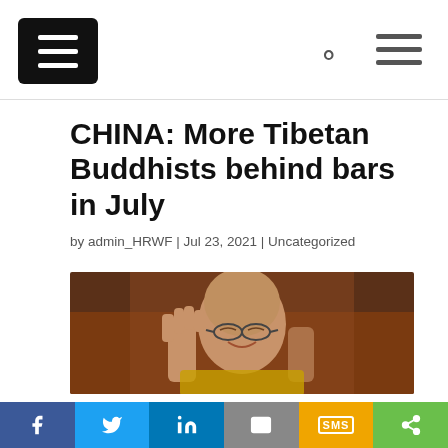[Navigation bar with menu icon, search icon, hamburger menu]
CHINA: More Tibetan Buddhists behind bars in July
by admin_HRWF | Jul 23, 2021 | Uncategorized
[Figure (photo): Close-up photo of a Tibetan Buddhist monk (Dalai Lama) with hands raised near face, smiling, wearing glasses, in front of a blurred warm-toned background]
Social share bar: Facebook, Twitter, LinkedIn, Email, SMS, Share